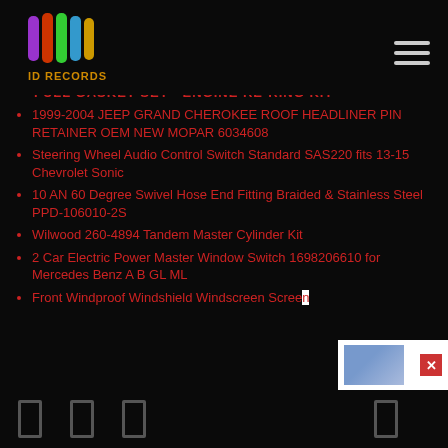ID RECORDS logo and hamburger menu
FULL GASKET SET  ENGINE RE-RING KIT
1999-2004 JEEP GRAND CHEROKEE ROOF HEADLINER PIN RETAINER OEM NEW MOPAR 6034608
Steering Wheel Audio Control Switch Standard SAS220 fits 13-15 Chevrolet Sonic
10 AN 60 Degree Swivel Hose End Fitting Braided & Stainless Steel PPD-106010-2S
Wilwood 260-4894 Tandem Master Cylinder Kit
2 Car Electric Power Master Window Switch 1698206610 for Mercedes Benz A B GL ML
Front Windproof Windshield Windscreen Screen
Navigation icons